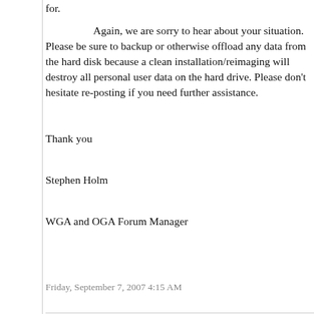for.
Again, we are sorry to hear about your situation. Please be sure to backup or otherwise offload any data from the hard disk because a clean installation/reimaging will destroy all personal user data on the hard drive. Please don't hesitate re-posting if you need further assistance.
Thank you

Stephen Holm

WGA and OGA Forum Manager
Friday, September 7, 2007 4:15 AM